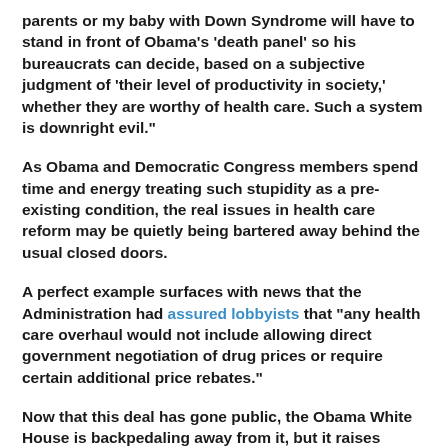parents or my baby with Down Syndrome will have to stand in front of Obama's 'death panel' so his bureaucrats can decide, based on a subjective judgment of 'their level of productivity in society,' whether they are worthy of health care. Such a system is downright evil."
As Obama and Democratic Congress members spend time and energy treating such stupidity as a pre-existing condition, the real issues in health care reform may be quietly being bartered away behind the usual closed doors.
A perfect example surfaces with news that the Administration had assured lobbyists that "any health care overhaul would not include allowing direct government negotiation of drug prices or require certain additional price rebates."
Now that this deal has gone public, the Obama White House is backpedaling away from it, but it raises questions about what else is being aborted there as well as in the Baucus-Grassley operating room on Capitol